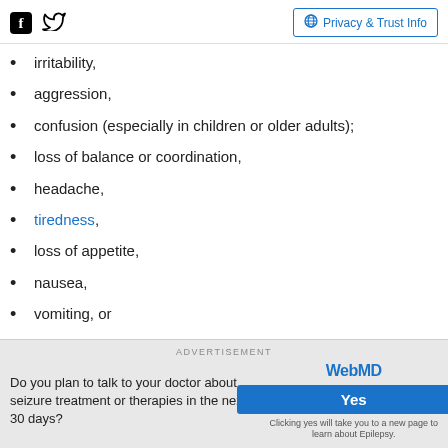Facebook Twitter | Privacy & Trust Info
irritability,
aggression,
confusion (especially in children or older adults);
loss of balance or coordination,
headache,
tiredness,
loss of appetite,
nausea,
vomiting, or
constipation as your body adjusts to the medication.
You may also experience a "hangover" effect
ADVERTISEMENT
Do you plan to talk to your doctor about seizure treatment or therapies in the next 30 days?
WebMD Yes Clicking yes will take you to a new page to learn about Epilepsy.